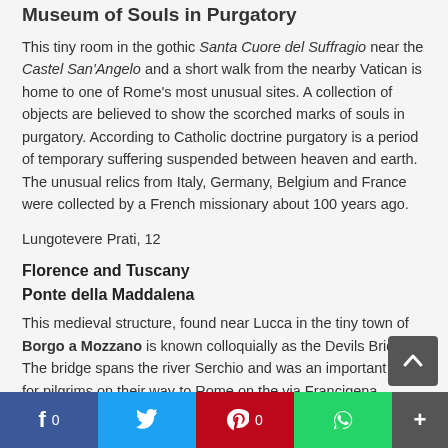Museum of Souls in Purgatory
This tiny room in the gothic Santa Cuore del Suffragio near the Castel San'Angelo and a short walk from the nearby Vatican is home to one of Rome's most unusual sites. A collection of objects are believed to show the scorched marks of souls in purgatory. According to Catholic doctrine purgatory is a period of temporary suffering suspended between heaven and earth. The unusual relics from Italy, Germany, Belgium and France were collected by a French missionary about 100 years ago.
Lungotevere Prati, 12
Florence and Tuscany
Ponte della Maddalena
This medieval structure, found near Lucca in the tiny town of Borgo a Mozzano is known colloquially as the Devils Bridge. The bridge spans the river Serchio and was an important link for pilgrims on their way to Rome on the via Francigena. Legend has it that the overnight completion of the unusual structure was a deal struck with the notoriously slow builder and the devil.
La Specola